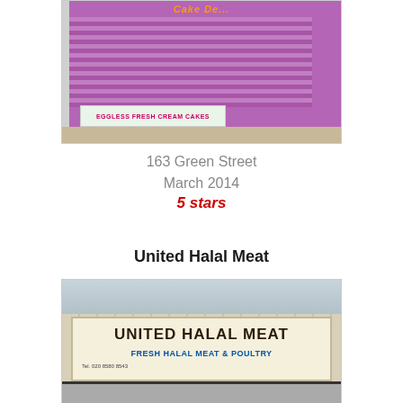[Figure (photo): Photo of a purple shopfront with metal roller shutters closed and a sign reading 'EGGLESS FRESH CREAM CAKES' at the bottom]
163 Green Street
March 2014
5 stars
United Halal Meat
[Figure (photo): Photo of United Halal Meat shopfront with signboard reading 'UNITED HALAL MEAT' and 'FRESH HALAL MEAT & POULTRY' with phone number Tel. 020 8580 8543]